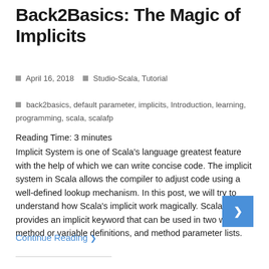Back2Basics: The Magic of Implicits
April 16, 2018   Studio-Scala, Tutorial   back2basics, default parameter, implicits, Introduction, learning, programming, scala, scalafp
Reading Time: 3 minutes
Implicit System is one of Scala's language greatest feature with the help of which we can write concise code. The implicit system in Scala allows the compiler to adjust code using a well-defined lookup mechanism. In this post, we will try to understand how Scala's implicit work magically. Scala provides an implicit keyword that can be used in two ways: method or variable definitions, and method parameter lists.
Continue Reading ❯